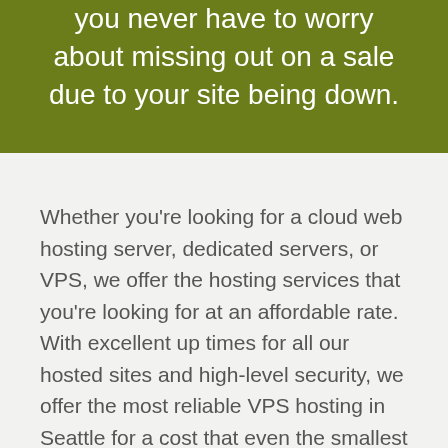you never have to worry about missing out on a sale due to your site being down.
Whether you're looking for a cloud web hosting server, dedicated servers, or VPS, we offer the hosting services that you're looking for at an affordable rate. With excellent up times for all our hosted sites and high-level security, we offer the most reliable VPS hosting in Seattle for a cost that even the smallest businesses can afford.